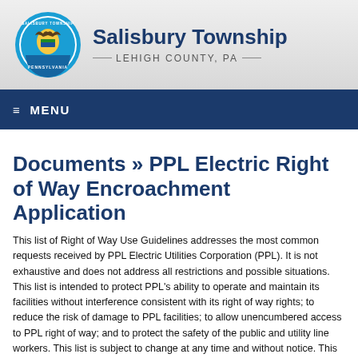Salisbury Township — LEHIGH COUNTY, PA
≡ MENU
Documents » PPL Electric Right of Way Encroachment Application
This list of Right of Way Use Guidelines addresses the most common requests received by PPL Electric Utilities Corporation (PPL). It is not exhaustive and does not address all restrictions and possible situations. This list is intended to protect PPL's ability to operate and maintain its facilities without interference consistent with its right of way rights; to reduce the risk of damage to PPL facilities; to allow unencumbered access to PPL right of way; and to protect the safety of the public and utility line workers. This list is subject to change at any time and without notice. This list and allowing encroachments in